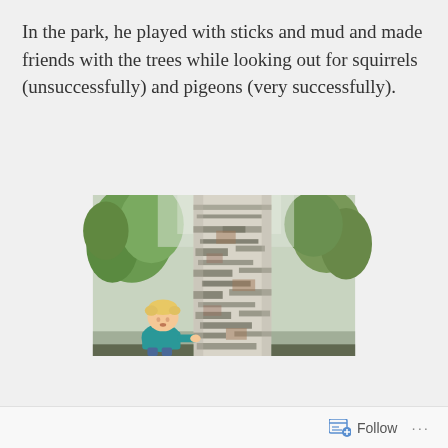In the park, he played with sticks and mud and made friends with the trees while looking out for squirrels (unsuccessfully) and pigeons (very successfully).
[Figure (photo): A young toddler with blonde hair standing next to a large birch tree trunk in a park. The tree bark is white/grey with dark markings. Green trees are visible in the background. The child is wearing a teal/blue top and appears to be touching the tree.]
Follow ···